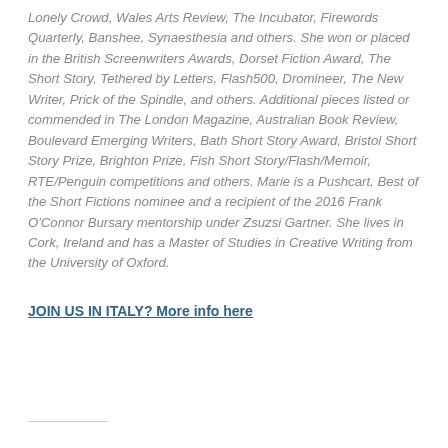Lonely Crowd, Wales Arts Review, The Incubator, Firewords Quarterly, Banshee, Synaesthesia and others. She won or placed in the British Screenwriters Awards, Dorset Fiction Award, The Short Story, Tethered by Letters, Flash500, Dromineer, The New Writer, Prick of the Spindle, and others. Additional pieces listed or commended in The London Magazine, Australian Book Review, Boulevard Emerging Writers, Bath Short Story Award, Bristol Short Story Prize, Brighton Prize, Fish Short Story/Flash/Memoir, RTE/Penguin competitions and others. Marie is a Pushcart, Best of the Short Fictions nominee and a recipient of the 2016 Frank O'Connor Bursary mentorship under Zsuzsi Gartner. She lives in Cork, Ireland and has a Master of Studies in Creative Writing from the University of Oxford.
JOIN US IN ITALY? More info here